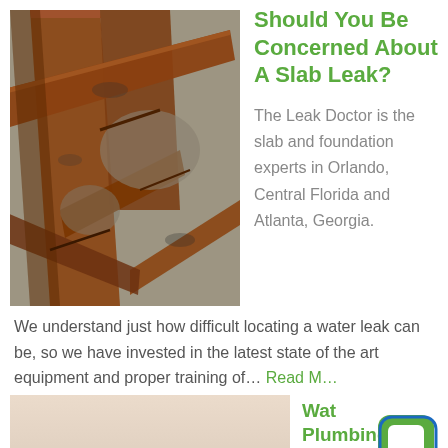[Figure (photo): Damaged wooden floor boards lifted and broken, exposing grey concrete/gravel beneath, suggesting water damage and slab leak damage]
Should You Be Concerned About A Slab Leak?
The Leak Doctor is the slab and foundation experts in Orlando, Central Florida and Atlanta, Georgia.
We understand just how difficult locating a water leak can be, so we have invested in the latest state of the art equipment and proper training of… Read M…
[Figure (photo): Partial view of bathroom or plumbing fixture, light beige/cream colored wall, lower portion of image]
Water Plumbing